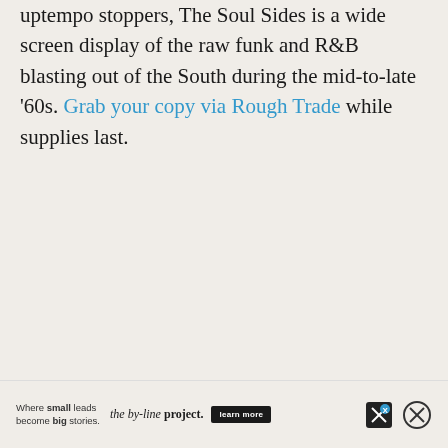uptempo stoppers, The Soul Sides is a wide screen display of the raw funk and R&B blasting out of the South during the mid-to-late '60s. Grab your copy via Rough Trade while supplies last.
[Figure (other): Advertisement banner: 'Where small leads become big stories. the by-line project. learn more' with social media icons]